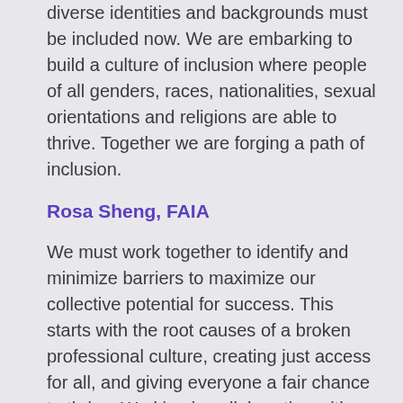diverse identities and backgrounds must be included now. We are embarking to build a culture of inclusion where people of all genders, races, nationalities, sexual orientations and religions are able to thrive. Together we are forging a path of inclusion.
Rosa Sheng, FAIA
We must work together to identify and minimize barriers to maximize our collective potential for success. This starts with the root causes of a broken professional culture, creating just access for all, and giving everyone a fair chance to thrive. Working in collaboration with partners at all levels of practice and academia, we will champion the difficult conversations, implement actionable policies and identify work that still needs to be undertaken to further our mutual goals for a better future. Now is our time to lead. Each of us has an integral role to play in developing our empathy and awareness,